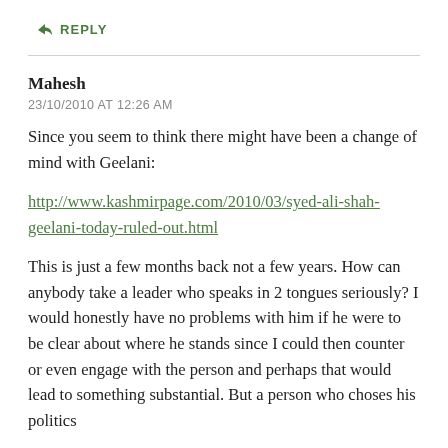↪ REPLY
Mahesh
23/10/2010 AT 12:26 AM
Since you seem to think there might have been a change of mind with Geelani:
http://www.kashmirpage.com/2010/03/syed-ali-shah-geelani-today-ruled-out.html
This is just a few months back not a few years. How can anybody take a leader who speaks in 2 tongues seriously? I would honestly have no problems with him if he were to be clear about where he stands since I could then counter or even engage with the person and perhaps that would lead to something substantial. But a person who choses his politics